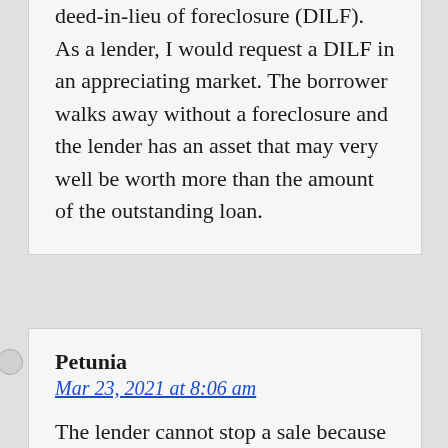deed-in-lieu of foreclosure (DILF). As a lender, I would request a DILF in an appreciating market. The borrower walks away without a foreclosure and the lender has an asset that may very well be worth more than the amount of the outstanding loan.
Petunia
Mar 23, 2021 at 8:06 am
The lender cannot stop a sale because the borrower is behind on payments, if the sale proceeds will cover the shortfall. If the sale